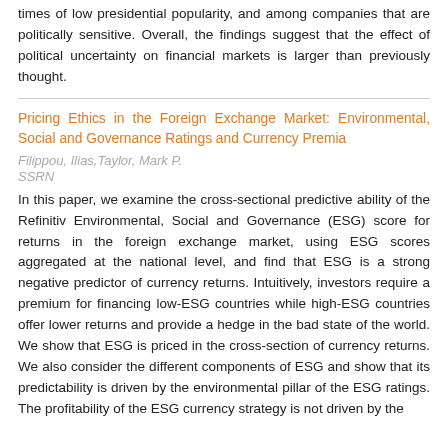times of low presidential popularity, and among companies that are politically sensitive. Overall, the findings suggest that the effect of political uncertainty on financial markets is larger than previously thought.
Pricing Ethics in the Foreign Exchange Market: Environmental, Social and Governance Ratings and Currency Premia
Filippou, Ilias,Taylor, Mark P.
SSRN
In this paper, we examine the cross-sectional predictive ability of the Refinitiv Environmental, Social and Governance (ESG) score for returns in the foreign exchange market, using ESG scores aggregated at the national level, and find that ESG is a strong negative predictor of currency returns. Intuitively, investors require a premium for financing low-ESG countries while high-ESG countries offer lower returns and provide a hedge in the bad state of the world. We show that ESG is priced in the cross-section of currency returns. We also consider the different components of ESG and show that its predictability is driven by the environmental pillar of the ESG ratings. The profitability of the ESG currency strategy is not driven by the